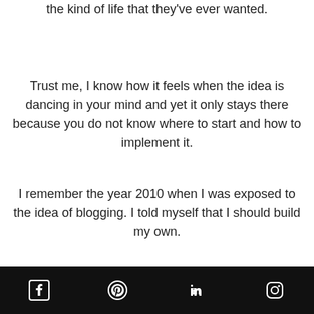the kind of life that they've ever wanted.
Trust me, I know how it feels when the idea is dancing in your mind and yet it only stays there because you do not know where to start and how to implement it.
I remember the year 2010 when I was exposed to the idea of blogging. I told myself that I should build my own.
I've been thinking about it for years but then I don't know where to start and how I should do it.
[Figure (other): Social media footer bar with Facebook, Pinterest, LinkedIn, and Instagram icons on black background]